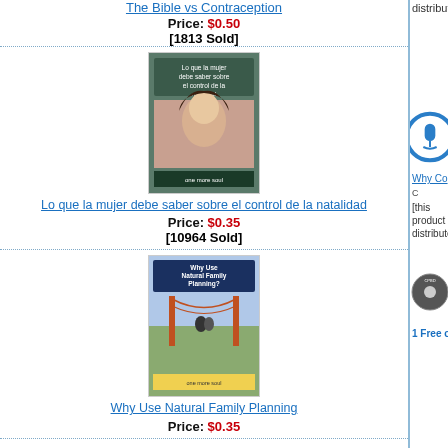distributed]
The Bible vs Contraception
Price: $0.50
[1813 Sold]
[Figure (photo): Book cover: Lo que la mujer debe saber sobre el control de la natalidad – shows a woman's face]
Lo que la mujer debe saber sobre el control de la natalidad
Price: $0.35
[10964 Sold]
[Figure (photo): Book cover: Why Use Natural Family Planning – shows a couple on a bridge]
Why Use Natural Family Planning
Price: $0.35
[Figure (illustration): Microphone icon in blue circle – True Love... How Will I Know? (Podcast)]
True Love. . . How Will I Know? (Podcast)
CODE: CTLHm
[this product is electronically distributed]
[Figure (photo): CD disc image: Why Contraception Matters]
1 Free copy Why Contraception